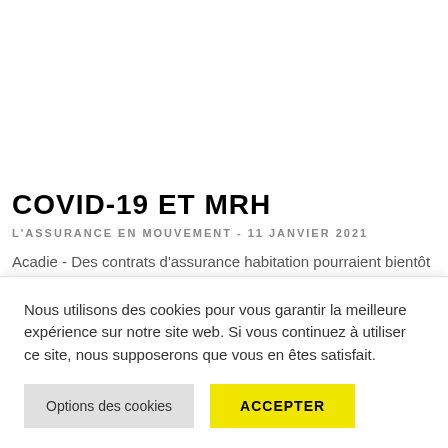COVID-19 ET MRH
L'ASSURANCE EN MOUVEMENT  -  11 JANVIER 2021
Acadie - Des contrats d'assurance habitation pourraient bientôt
Nous utilisons des cookies pour vous garantir la meilleure expérience sur notre site web. Si vous continuez à utiliser ce site, nous supposerons que vous en êtes satisfait.
Options des cookies
ACCEPTER